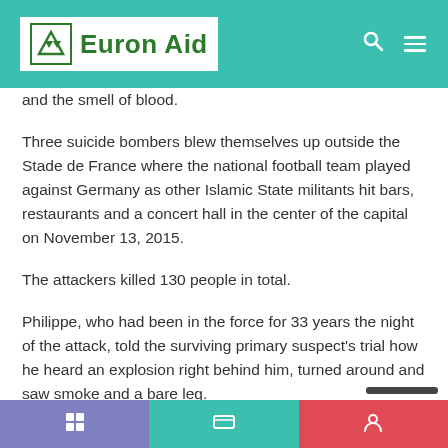Euron Aid
and the smell of blood.
Three suicide bombers blew themselves up outside the Stade de France where the national football team played against Germany as other Islamic State militants hit bars, restaurants and a concert hall in the center of the capital on November 13, 2015.
The attackers killed 130 people in total.
Philippe, who had been in the force for 33 years the night of the attack, told the surviving primary suspect's trial how he heard an explosion right behind him, turned around and saw smoke and a bare leg.